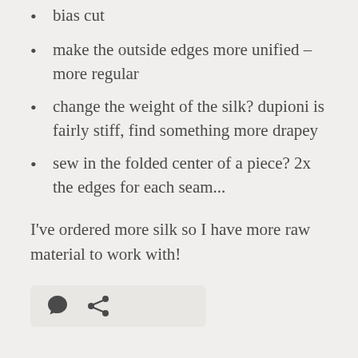bias cut
make the outside edges more unified – more regular
change the weight of the silk? dupioni is fairly stiff, find something more drapey
sew in the folded center of a piece? 2x the edges for each seam...
I've ordered more silk so I have more raw material to work with!
[Figure (other): Comment and share link icons in a light grey pill/bar]